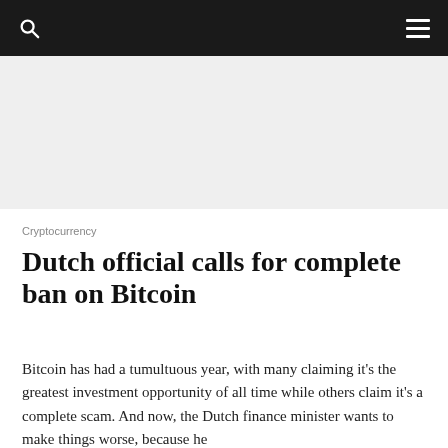[Figure (other): Grey advertisement banner placeholder area]
Cryptocurrency
Dutch official calls for complete ban on Bitcoin
Bitcoin has had a tumultuous year, with many claiming it's the greatest investment opportunity of all time while others claim it's a complete scam. And now, the Dutch finance minister wants to make things worse, because he